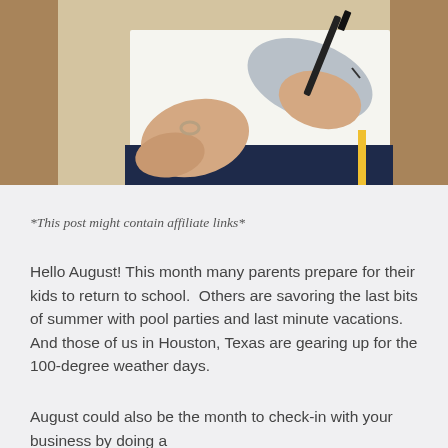[Figure (photo): Overhead view of a person's hands writing in a journal/notebook on a wooden desk surface. Person wearing a grey sweater, holding a black pen over white paper. A navy/dark book visible beneath. Wooden surface visible on left and right sides.]
*This post might contain affiliate links*
Hello August! This month many parents prepare for their kids to return to school.  Others are savoring the last bits of summer with pool parties and last minute vacations.  And those of us in Houston, Texas are gearing up for the 100-degree weather days.
August could also be the month to check-in with your business by doing a